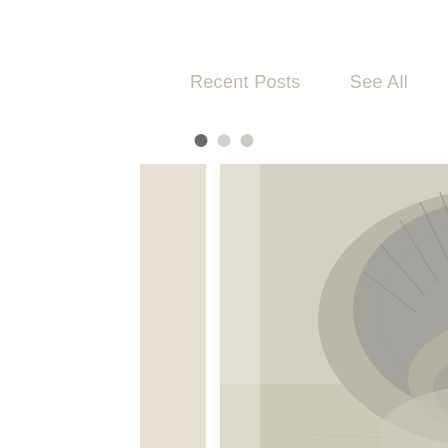Recent Posts
See All
[Figure (photo): Close-up photo of a hedgehog viewed from above, showing spines and face, in muted grayscale tones]
Charity Running Costs: Fuel & Energy Prices, an...
51 views, heart/like icon